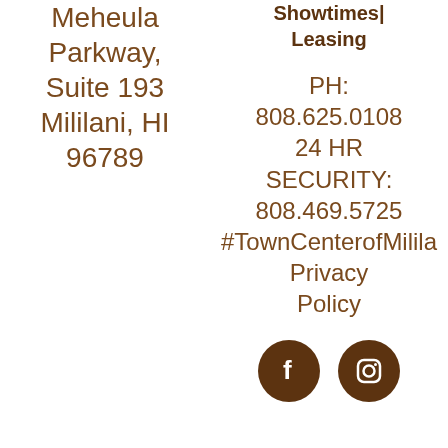Meheula Parkway, Suite 193 Mililani, HI 96789
Showtimes| Leasing
PH: 808.625.0108 24 HR SECURITY: 808.469.5725 #TownCenterofMilila Privacy Policy
[Figure (illustration): Facebook and Instagram social media icons as brown circles with white logos]